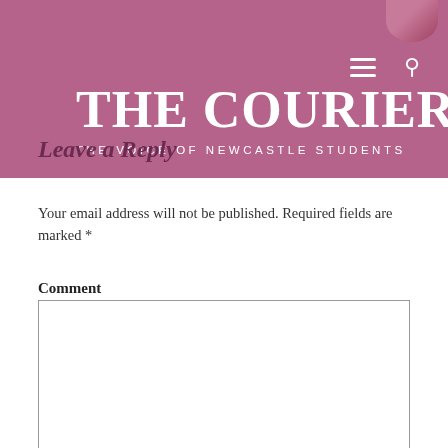THE COURIER
THE VOICE OF NEWCASTLE STUDENTS
Leave a Reply
Your email address will not be published. Required fields are marked *
Comment
Name *